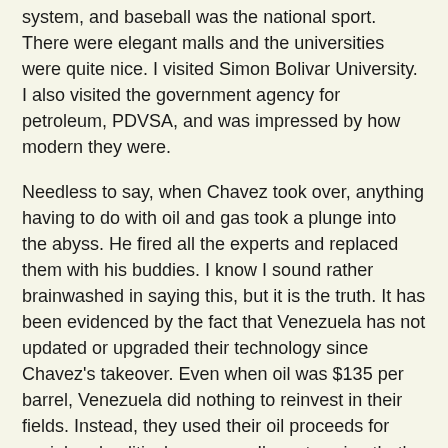system, and baseball was the national sport. There were elegant malls and the universities were quite nice. I visited Simon Bolivar University. I also visited the government agency for petroleum, PDVSA, and was impressed by how modern they were.
Needless to say, when Chavez took over, anything having to do with oil and gas took a plunge into the abyss. He fired all the experts and replaced them with his buddies. I know I sound rather brainwashed in saying this, but it is the truth. It has been evidenced by the fact that Venezuela has not updated or upgraded their technology since Chavez's takeover. Even when oil was $135 per barrel, Venezuela did nothing to reinvest in their fields. Instead, they used their oil proceeds for social and political purposes. I'm not saying that's a bad thing (although Jaime Bayly would attack it!), but I am saying that the failure to put money in maintenance or new technologies will lead to problems.
I have not listened to very many of Bayly's shows with Venezuelan guests. But, I have listened to enough to know that Jaime Bayly believes that Maduro was elected only because there are the centros electorales before fraud...